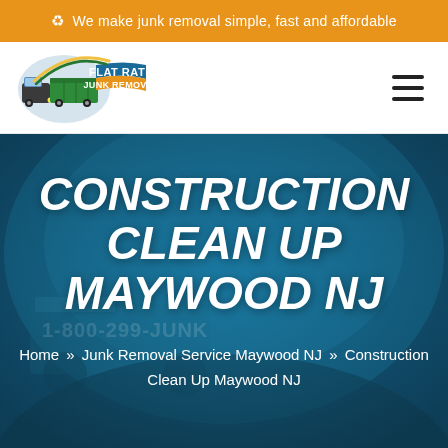We make junk removal simple, fast and affordable
[Figure (logo): Flat Rate Junk Removal logo with truck and green container]
CONSTRUCTION CLEAN UP MAYWOOD NJ
Home » Junk Removal Service Maywood NJ » Construction Clean Up Maywood NJ